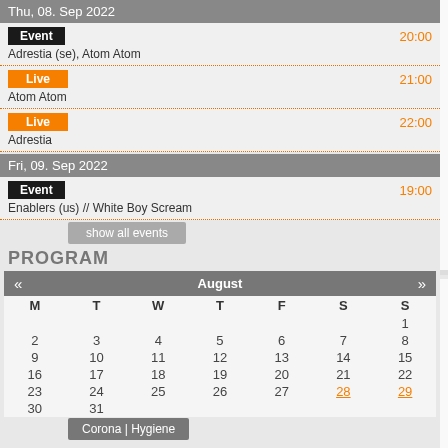Thu, 08. Sep 2022
Event 20:00
Adrestia (se), Atom Atom
Live 21:00
Atom Atom
Live 22:00
Adrestia
Fri, 09. Sep 2022
Event 19:00
Enablers (us) // White Boy Scream
show all events
PROGRAM
| « | August | » |
| --- | --- | --- |
| M | T | W | T | F | S | S |
|  |  |  |  |  |  | 1 |
| 2 | 3 | 4 | 5 | 6 | 7 | 8 |
| 9 | 10 | 11 | 12 | 13 | 14 | 15 |
| 16 | 17 | 18 | 19 | 20 | 21 | 22 |
| 23 | 24 | 25 | 26 | 27 | 28 | 29 |
| 30 | 31 |  |  |  |  |  |
Corona | Hygiene
Rummelsnuff (DE)
[Figure (photo): Rummelsnuff performing live in Hamburg 2007]
Hamburg 2007
Electronic | Shanty
Golden Dis
[Figure (photo): Golden Dis performing live in Rostock]
Rostock 20
Electronic |
Grimoon (IT/FR)
[Figure (photo): Grimoon performing in Rostock 2010]
Rostock 2010
Electronic | Folk
Barberos (U
[Figure (photo): Barberos performing in Rostock]
Rostock 20
Dubstep | E
Rock